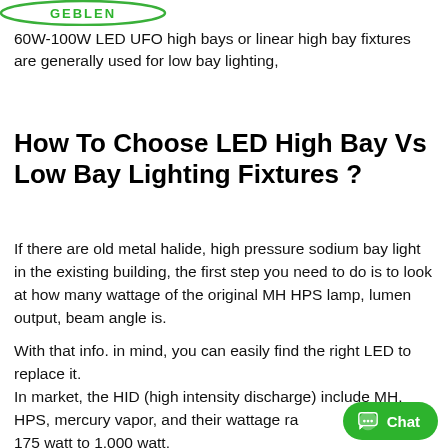[Figure (logo): Green oval logo with 'GEBLEN' text in green]
60W-100W LED UFO high bays or linear high bay fixtures are generally used for low bay lighting,
How To Choose LED High Bay Vs Low Bay Lighting Fixtures ?
If there are old metal halide, high pressure sodium bay light in the existing building, the first step you need to do is to look at how many wattage of the original MH HPS lamp, lumen output, beam angle is.
With that info. in mind, you can easily find the right LED to replace it.
In market, the HID (high intensity discharge) include MH, HPS, mercury vapor, and their wattage range from 175 watt to 1,000 watt.